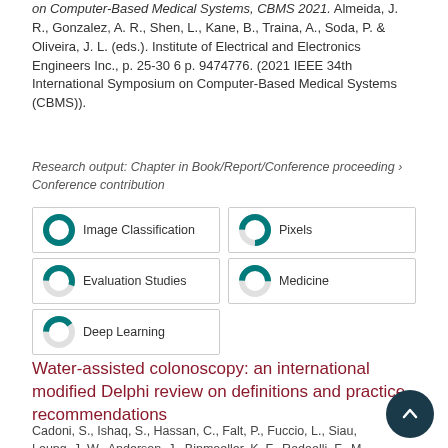on Computer-Based Medical Systems, CBMS 2021. Almeida, J. R., Gonzalez, A. R., Shen, L., Kane, B., Traina, A., Soda, P. & Oliveira, J. L. (eds.). Institute of Electrical and Electronics Engineers Inc., p. 25-30 6 p. 9474776. (2021 IEEE 34th International Symposium on Computer-Based Medical Systems (CBMS)).
Research output: Chapter in Book/Report/Conference proceeding › Conference contribution
[Figure (infographic): Keyword badges with donut chart icons showing percentage fill: Image Classification (100%), Pixels (~75%), Evaluation Studies (~55%), Medicine (~50%), Deep Learning (~40%)]
Water-assisted colonoscopy: an international modified Delphi review on definitions and practice recommendations
Cadoni, S., Ishaq, S., Hassan, C., Falt, P., Fuccio, L., Siau, Leung, J. W., Anderson, J., Binmoeller, K. F., Radaelli, F., M. D., Sugimoto, S., Muhammad, H., Bhandari, P., Draganov, P.